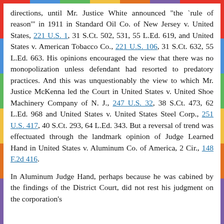directions, until Mr. Justice White announced "the `rule of reason'" in 1911 in Standard Oil Co. of New Jersey v. United States, 221 U.S. 1, 31 S.Ct. 502, 531, 55 L.Ed. 619, and United States v. American Tobacco Co., 221 U.S. 106, 31 S.Ct. 632, 55 L.Ed. 663. His opinions encouraged the view that there was no monopolization unless defendant had resorted to predatory practices. And this was unquestionably the view to which Mr. Justice McKenna led the Court in United States v. United Shoe Machinery Company of N. J., 247 U.S. 32, 38 S.Ct. 473, 62 L.Ed. 968 and United States v. United States Steel Corp., 251 U.S. 417, 40 S.Ct. 293, 64 L.Ed. 343. But a reversal of trend was effectuated through the landmark opinion of Judge Learned Hand in United States v. Aluminum Co. of America, 2 Cir., 148 F.2d 416.
In Aluminum Judge Hand, perhaps because he was cabined by the findings of the District Court, did not rest his judgment on the corporation's